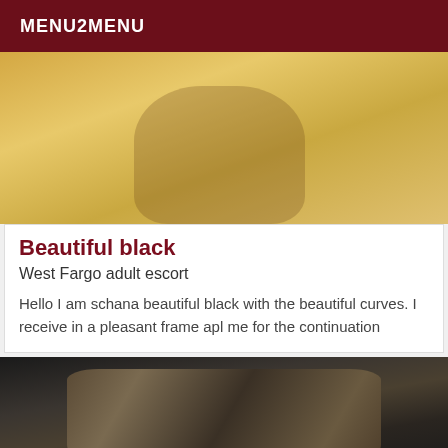MENU2MENU
[Figure (photo): Photo of a person wearing a yellow dress, torso area visible]
Beautiful black
West Fargo adult escort
Hello I am schana beautiful black with the beautiful curves. I receive in a pleasant frame apl me for the continuation
[Figure (photo): Photo showing dark hair from behind, partial view]